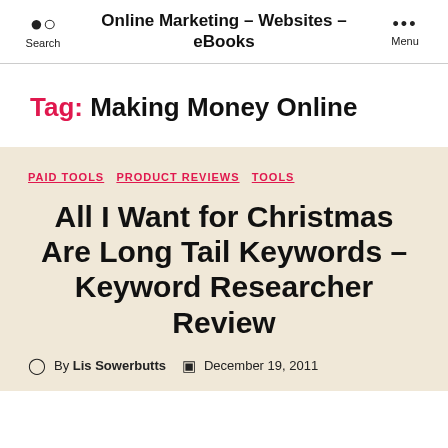Online Marketing – Websites – eBooks
Tag: Making Money Online
PAID TOOLS  PRODUCT REVIEWS  TOOLS
All I Want for Christmas Are Long Tail Keywords – Keyword Researcher Review
By Lis Sowerbutts   December 19, 2011